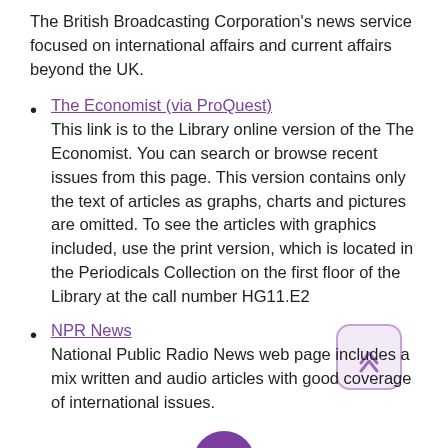The British Broadcasting Corporation's news service focused on international affairs and current affairs beyond the UK.
The Economist (via ProQuest)
This link is to the Library online version of the The Economist. You can search or browse recent issues from this page. This version contains only the text of articles as graphs, charts and pictures are omitted. To see the articles with graphics included, use the print version, which is located in the Periodicals Collection on the first floor of the Library at the call number HG11.E2
NPR News
National Public Radio News web page includes a mix written and audio articles with good coverage of international issues.